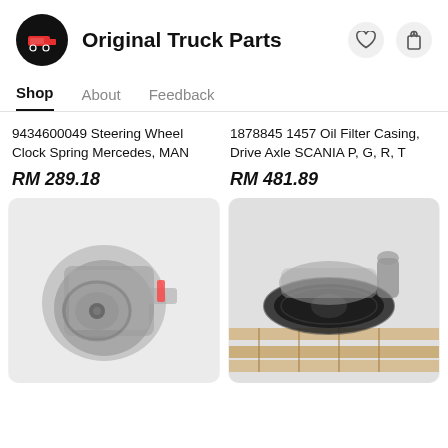Original Truck Parts
Shop   About   Feedback
9434600049 Steering Wheel Clock Spring Mercedes, MAN
RM 289.18
1878845 1457 Oil Filter Casing, Drive Axle SCANIA P, G, R, T
RM 481.89
[Figure (photo): Used truck transmission/gearbox component photographed on grey surface]
[Figure (photo): Used truck differential/drive axle ring gear component on wooden pallet]